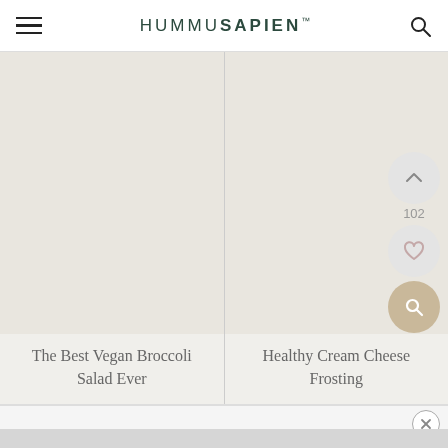HUMMUSAPIEN
[Figure (screenshot): Website screenshot showing two food blog article cards: 'The Best Vegan Broccoli Salad Ever' and 'Healthy Cream Cheese Frosting', with floating UI buttons (upvote showing 102, heart/favorite, search) on the right side.]
The Best Vegan Broccoli Salad Ever
Healthy Cream Cheese Frosting